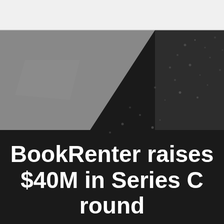[Figure (photo): Black and white overhead photo of a shiny dark table surface with scattered light reflections, two table sections visible from above at an angle]
BookRenter raises $40M in Series C round